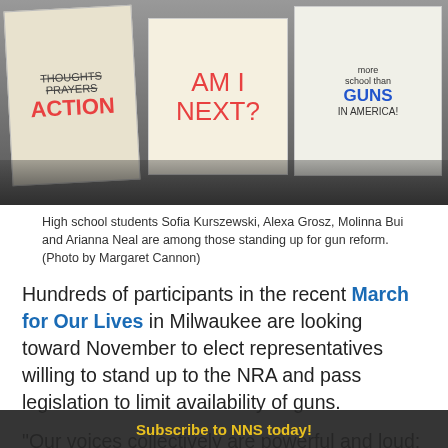[Figure (photo): Protesters holding signs at a March for Our Lives rally. Signs read 'Thoughts Prayers ACTION', 'AM I NEXT?', and 'more school than GUNS IN AMERICA!' People visible in background.]
High school students Sofia Kurszewski, Alexa Grosz, Molinna Bui and Arianna Neal are among those standing up for gun reform. (Photo by Margaret Cannon)
Hundreds of participants in the recent March for Our Lives in Milwaukee are looking toward November to elect representatives willing to stand up to the NRA and pass legislation to limit availability of guns.
"Our voices collectively are powerful and loud; and I expect nothing less than absolute change," Destiny Devooght told the crowd outside the Milwaukee County Courthouse, 901...
Subscribe to NNS today!